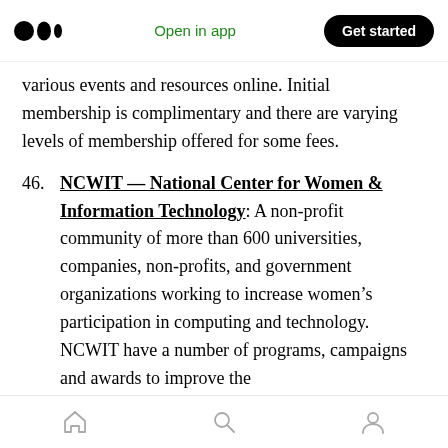Open in app | Get started
various events and resources online. Initial membership is complimentary and there are varying levels of membership offered for some fees.
46. NCWIT — National Center for Women & Information Technology: A non-profit community of more than 600 universities, companies, non-profits, and government organizations working to increase women's participation in computing and technology. NCWIT have a number of programs, campaigns and awards to improve the